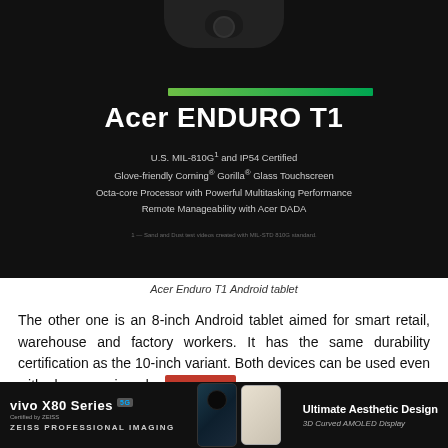[Figure (photo): Acer ENDURO T1 Android tablet product image on dark background with green bar and product features text]
Acer Enduro T1 Android tablet
The other one is an 8-inch Android tablet aimed for smart retail, warehouse and factory workers. It has the same durability certification as the 10-inch variant. Both devices can be used even with gloves equipped.
[Figure (photo): Advertisement banner for vivo X80 Series 5G smartphone with ZEISS Professional Imaging and Ultimate Aesthetic Design 3D Curved AMOLED Display]